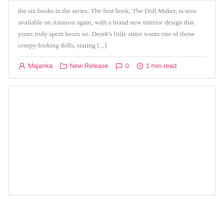the six books in the series. The first book, The Doll Maker, is now available on Amazon again, with a brand new interior design that yours truly spent hours on. Derek's little sister wants one of those creepy-looking dolls, staring [...]
Majanka | New Release | 0 comments | 1 min read